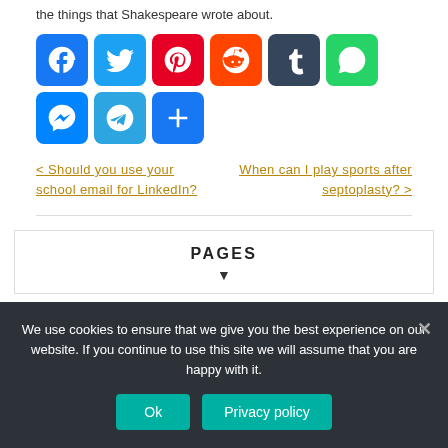the things that Shakespeare wrote about.
[Figure (infographic): Social share buttons: Facebook, Twitter, Pinterest, Reddit, Tumblr, WhatsApp, Messenger, Telegram, and a plus button]
< Should you use your school email for LinkedIn?
When can I play sports after septoplasty? >
PAGES
We use cookies to ensure that we give you the best experience on our website. If you continue to use this site we will assume that you are happy with it.
Ok  Privacy policy